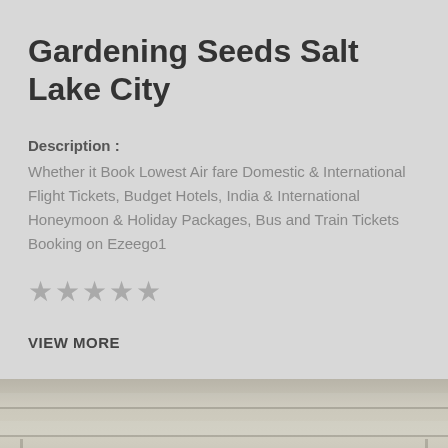Gardening Seeds Salt Lake City
Description :
Whether it Book Lowest Air fare Domestic & International Flight Tickets, Budget Hotels, India & International Honeymoon & Holiday Packages, Bus and Train Tickets Booking on Ezeego1
★★★★★
VIEW MORE
[Figure (photo): Interior ceiling/soffit photo showing horizontal slat panels with a small bolt or screw visible, and wall/trim at the bottom]